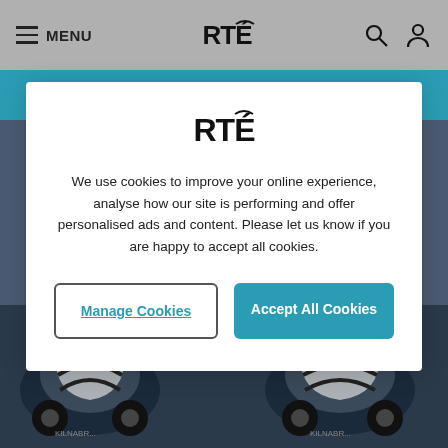MENU | RTÉ
[Figure (screenshot): Construction site photo with concrete mixer trucks in foreground and scaffolded building structure in background]
[Figure (logo): RTÉ logo centered in cookie consent modal]
We use cookies to improve your online experience, analyse how our site is performing and offer personalised ads and content. Please let us know if you are happy to accept all cookies.
Manage Cookies
Accept All Cookies